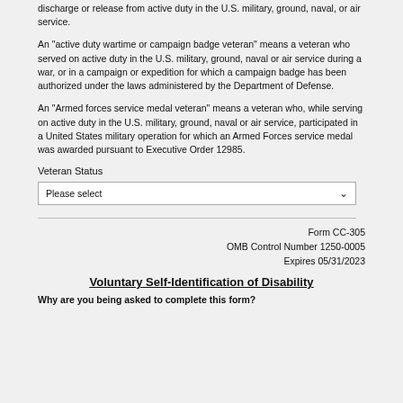discharge or release from active duty in the U.S. military, ground, naval, or air service.
An "active duty wartime or campaign badge veteran" means a veteran who served on active duty in the U.S. military, ground, naval or air service during a war, or in a campaign or expedition for which a campaign badge has been authorized under the laws administered by the Department of Defense.
An "Armed forces service medal veteran" means a veteran who, while serving on active duty in the U.S. military, ground, naval or air service, participated in a United States military operation for which an Armed Forces service medal was awarded pursuant to Executive Order 12985.
Veteran Status
Please select
Form CC-305
OMB Control Number 1250-0005
Expires 05/31/2023
Voluntary Self-Identification of Disability
Why are you being asked to complete this form?